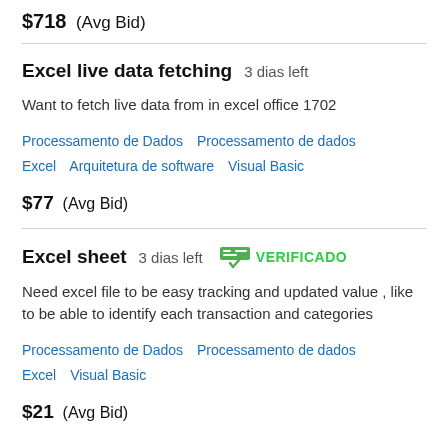$718  (Avg Bid)
Excel live data fetching  3 dias left
Want to fetch live data from in excel office 1702
Processamento de Dados   Processamento de dados   Excel   Arquitetura de software   Visual Basic
$77  (Avg Bid)
Excel sheet  3 dias left  VERIFICADO
Need excel file to be easy tracking and updated value , like to be able to identify each transaction and categories
Processamento de Dados   Processamento de dados   Excel   Visual Basic
$21  (Avg Bid)